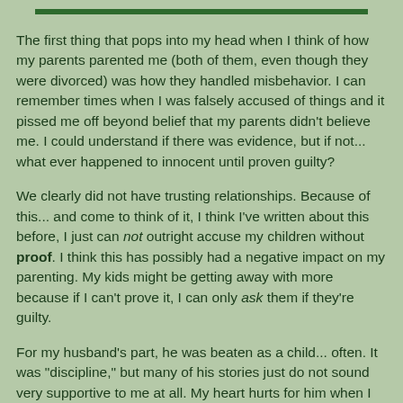The first thing that pops into my head when I think of how my parents parented me (both of them, even though they were divorced) was how they handled misbehavior. I can remember times when I was falsely accused of things and it pissed me off beyond belief that my parents didn't believe me. I could understand if there was evidence, but if not... what ever happened to innocent until proven guilty?
We clearly did not have trusting relationships. Because of this... and come to think of it, I think I've written about this before, I just can not outright accuse my children without proof. I think this has possibly had a negative impact on my parenting. My kids might be getting away with more because if I can't prove it, I can only ask them if they're guilty.
For my husband's part, he was beaten as a child... often. It was "discipline," but many of his stories just do not sound very supportive to me at all. My heart hurts for him when I hear some of his stories. So gentle parenting has been a stretch for him. Its honestly been new ground for both of us.